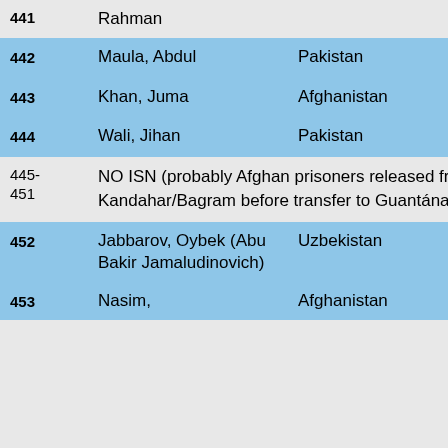| ISN | Name | Country |  | Status |
| --- | --- | --- | --- | --- |
| 441 | Rahman |  |  |  |
| 442 | Maula, Abdul | Pakistan |  | RELE... |
| 443 | Khan, Juma | Afghanistan |  | RELE... |
| 444 | Wali, Jihan | Pakistan |  | RELE... |
| 445-451 | NO ISN (probably Afghan prisoners released from Kandahar/Bagram before transfer to Guantánamo) |  |  |  |
| 452 | Jabbarov, Oybek (Abu Bakir Jamaludinovich) | Uzbekistan |  | RELE... |
| 453 | Nasim, | Afghanistan |  | RELE... |